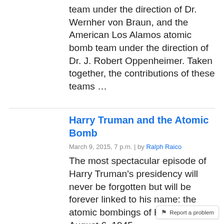team under the direction of Dr. Wernher von Braun, and the American Los Alamos atomic bomb team under the direction of Dr. J. Robert Oppenheimer. Taken together, the contributions of these teams …
Harry Truman and the Atomic Bomb
March 9, 2015, 7 p.m. | by Ralph Raico
The most spectacular episode of Harry Truman's presidency will never be forgotten but will be forever linked to his name: the atomic bombings of Hiroshima on August 6, 1945...
Report a problem